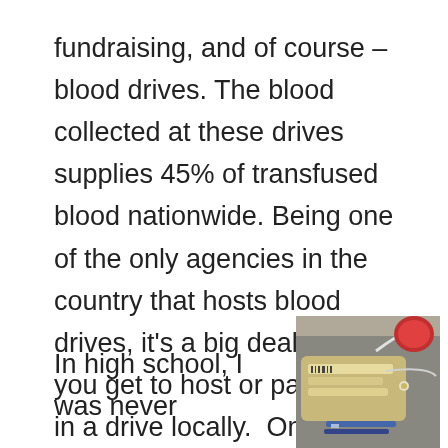fundraising, and of course – blood drives. The blood collected at these drives supplies 45% of transfused blood nationwide. Being one of the only agencies in the country that hosts blood drives, it's a big deal when you get to host or participate in a drive locally. On February 22nd, at the drive we hosted at the Snohomish County chapter I had an experience that impacted my service and my life.
In high school, I was never
[Figure (photo): Close-up photo of blood donation supplies on a table including a blood collection bag with labels, tubing, bandage wrap in red, and pens/markers]